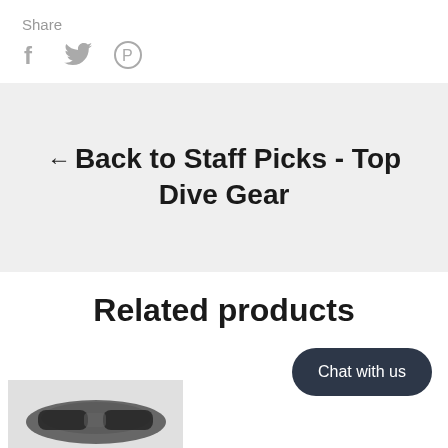Share
[Figure (other): Social share icons: Facebook (f), Twitter (bird), Pinterest (P circle)]
← Back to Staff Picks - Top Dive Gear
Related products
Chat with us
[Figure (photo): Partial image of dive gear product thumbnail at bottom left]